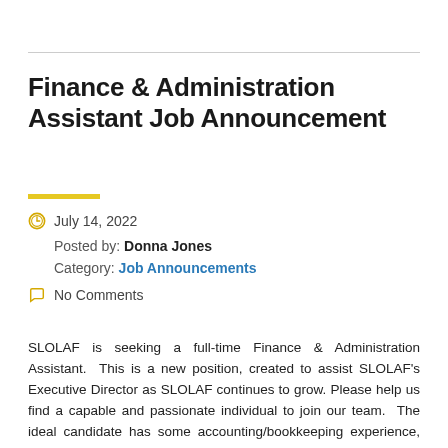Finance & Administration Assistant Job Announcement
July 14, 2022
Posted by: Donna Jones
Category: Job Announcements
No Comments
SLOLAF is seeking a full-time Finance & Administration Assistant.  This is a new position, created to assist SLOLAF's Executive Director as SLOLAF continues to grow. Please help us find a capable and passionate individual to join our team.  The ideal candidate has some accounting/bookkeeping experience, QuickBooks experience, is detail oriented and thrives on helping others... Continue Reading Finance & Administration Assistant Job Announcement